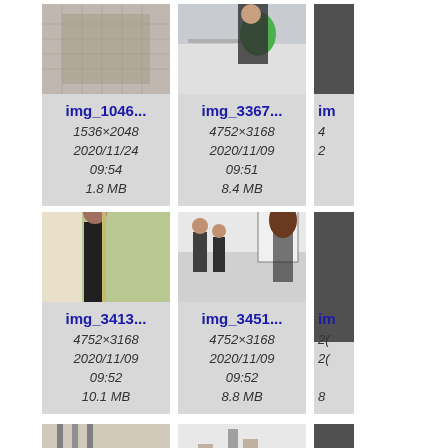[Figure (screenshot): File browser / image gallery screenshot showing thumbnail cards with image previews, filenames, dimensions, dates, and file sizes. Row 1: img_1046... (1536×2048, 2020/11/24 09:54, 1.8 MB), img_3367... (4752×3168, 2020/11/09 09:51, 8.4 MB), partial third card. Row 2: img_3413... (4752×3168, 2020/11/09 09:52, 10.1 MB), img_3451... (4752×3168, 2020/11/09 09:52, 8.8 MB), partial third card. Row 3: two partial bottom cards visible.]